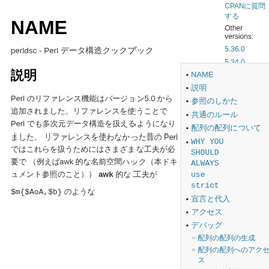CPANに質問する
Other versions:
5.36.0
5.34.0
5.32.0
5.30.0
5.28.0
5.26.1
5.24.1
5.22.1
5.20.1
5.18.1
5.14.1
5.12.1
5.10.1
5.10.0
5.8.8
NAME
perldsc - Perl データ構造クックブック
説明
Perl のリファレンス機能はバージョン5.0 から追加されました。リファレンスを使うことで Perl でも多次元データ構造を扱えるようになりました。 リファレンスを使わなかった昔の Perl ではこれらを扱うためにはさまざまな工夫が必要で （例えばawk 的な名前空間ハック） awk 的な 工夫が
$m{$AoA,$b} のような
NAME
説明
参照のしかた
共通のルール
配列の配列について
WHY YOU SHOULD ALWAYS use strict
宣言と代入
アクセス
デバッグ
配列の配列の生成
配列の配列へのアクセス
その他の方法